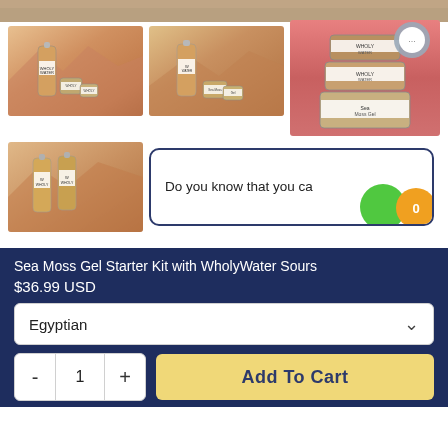[Figure (photo): Top banner image strip showing desert/rocky landscape background in warm brown tones]
[Figure (photo): Thumbnail 1: WholyWater bottles with jars on desert landscape with mountains]
[Figure (photo): Thumbnail 2: WholyWater bottles with jars on desert landscape]
[Figure (photo): Thumbnail 3: Stacked jars with labels on pink/red background, with chat bubble icon overlay]
[Figure (photo): Thumbnail 4: Two WholyWater bottles on desert landscape]
Do you know that you can earn
Sea Moss Gel Starter Kit with WholyWater Sours
$36.99 USD
Egyptian
1
Add To Cart